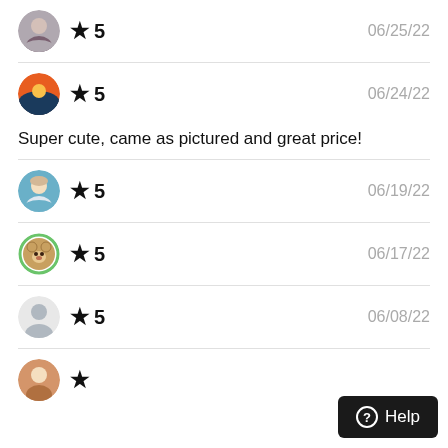★ 5   06/25/22
★ 5   06/24/22
Super cute, came as pictured and great price!
★ 5   06/19/22
★ 5   06/17/22
★ 5   06/08/22